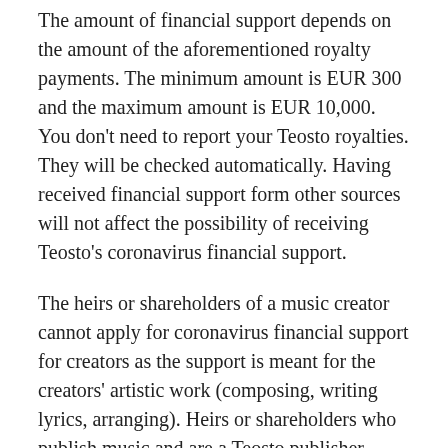The amount of financial support depends on the amount of the aforementioned royalty payments. The minimum amount is EUR 300 and the maximum amount is EUR 10,000. You don't need to report your Teosto royalties. They will be checked automatically. Having received financial support form other sources will not affect the possibility of receiving Teosto's coronavirus financial support.
The heirs or shareholders of a music creator cannot apply for coronavirus financial support for creators as the support is meant for the creators' artistic work (composing, writing lyrics, arranging). Heirs or shareholders who publish music and are a Teosto publisher member can apply for coronavirus financial support for music publishers.